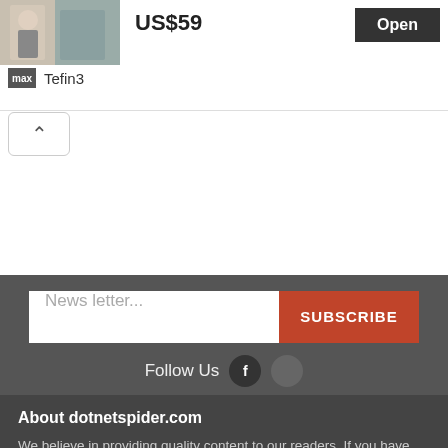[Figure (photo): Product image thumbnail showing a person near a brick wall]
US$59
Open
Tefin3
^
News letter...
SUBSCRIBE
Follow Us
About dotnetspider.com
We believe in providing quality content to our readers. If you have any questions or concerns regarding any content published here, feel free to contact us using the Contact link